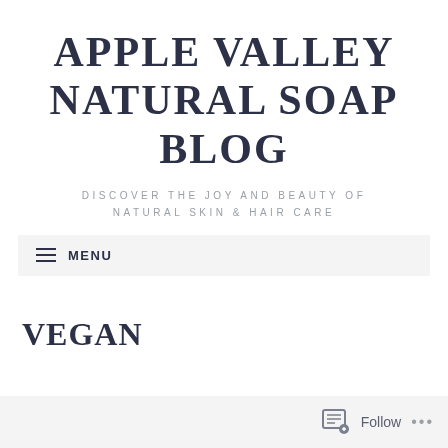APPLE VALLEY NATURAL SOAP BLOG
DISCOVER THE JOY AND BEAUTY OF NATURAL SKIN & HAIR CARE
MENU
VEGAN
Follow ...